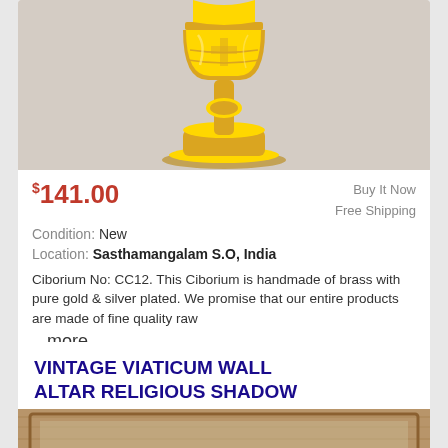[Figure (photo): Gold ciborium (chalice-like vessel) with ornate decorative patterns, photographed against a light grey/white background]
$141.00
Buy It Now
Free Shipping
Condition: New
Location: Sasthamangalam S.O, India
Ciborium No: CC12. This Ciborium is handmade of brass with pure gold & silver plated. We promise that our entire products are made of fine quality raw ... more
VINTAGE VIATICUM WALL ALTAR RELIGIOUS SHADOW BOX PIETA LAST RITES CEREMONIAL BOX
[Figure (photo): Partial image of a wooden shadow box or altar box, showing the wooden frame/border]